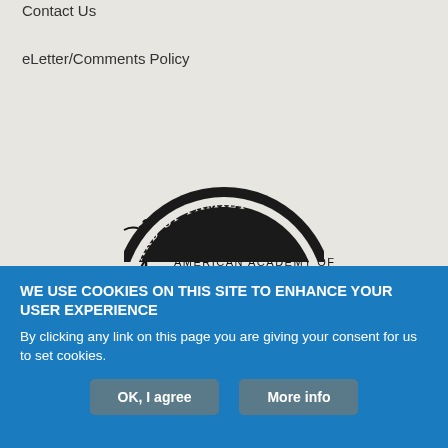Contact Us
eLetter/Comments Policy
[Figure (logo): American Academy of Family Physicians logo with Rod of Asclepius symbol and text 'AMERICAN ACADEMY OF FAMILY PHYSICIANS']
[Figure (logo): Partial circular seal with text 'BOARD OF FAMI...' visible at top]
WE USE COOKIES ON THIS SITE TO ENHANCE YOUR USER EXPERIENCE
By clicking any link on this page you are giving your consent for us to set cookies.
OK, I agree
More info